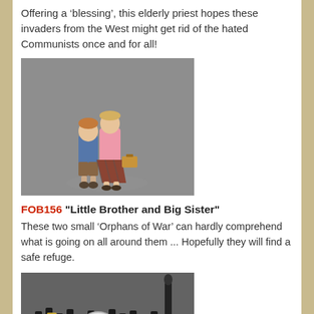Offering a ‘blessing’, this elderly priest hopes these invaders from the West might get rid of the hated Communists once and for all!
[Figure (photo): Painted figurine of two children — a boy in a blue shirt and shorts and a girl in a pink sweater and plaid skirt, holding a small suitcase — standing on a grey base.]
FOB156 “Little Brother and Big Sister”
These two small ‘Orphans of War’ can hardly comprehend what is going on all around them ... Hopefully they will find a safe refuge.
[Figure (photo): Painted figurines of a marching band group in black uniforms with brass instruments and a tall drum major, arranged on a display base.]